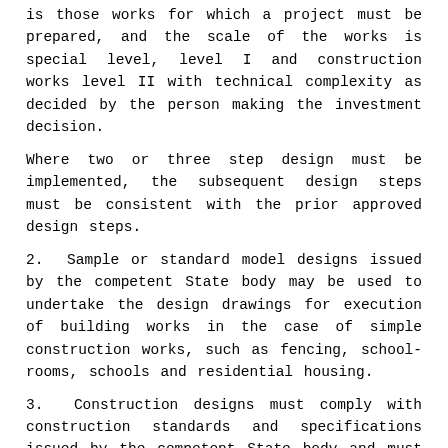is those works for which a project must be prepared, and the scale of the works is special level, level I and construction works level II with technical complexity as decided by the person making the investment decision.
Where two or three step design must be implemented, the subsequent design steps must be consistent with the prior approved design steps.
2. Sample or standard model designs issued by the competent State body may be used to undertake the design drawings for execution of building works in the case of simple construction works, such as fencing, school-rooms, schools and residential housing.
3. Construction designs must comply with construction standards and specifications issued by the competent State body and must be recorded in drawings in accordance with regulations. The designs must express the basic volume of works to be executed in order to provide the basis for determining costs of construction of the works.
Article 15 File on design and total estimated budget